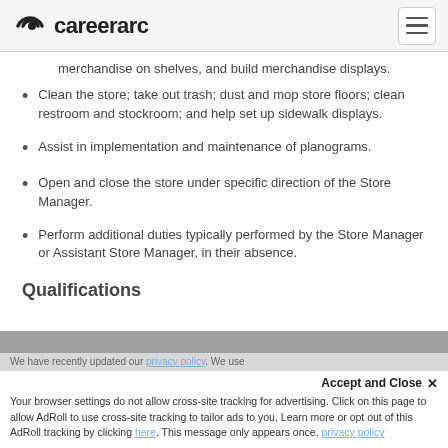careerarc
merchandise on shelves, and build merchandise displays.
Clean the store; take out trash; dust and mop store floors; clean restroom and stockroom; and help set up sidewalk displays.
Assist in implementation and maintenance of planograms.
Open and close the store under specific direction of the Store Manager.
Perform additional duties typically performed by the Store Manager or Assistant Store Manager, in their absence.
Qualifications
Accept and Close ✕ Your browser settings do not allow cross-site tracking for advertising. Click on this page to allow AdRoll to use cross-site tracking to tailor ads to you. Learn more or opt out of this AdRoll tracking by clicking here. This message only appears once.